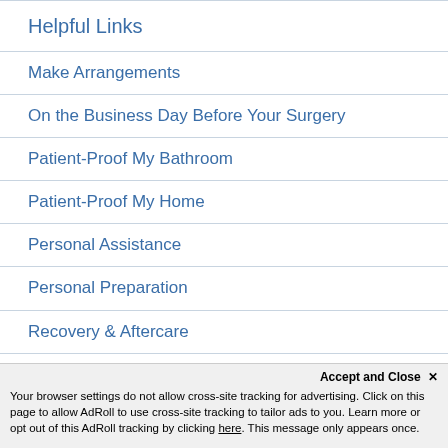Helpful Links
Make Arrangements
On the Business Day Before Your Surgery
Patient-Proof My Bathroom
Patient-Proof My Home
Personal Assistance
Personal Preparation
Recovery & Aftercare
The Evening Before Your Surgery
Accept and Close ✕
Your browser settings do not allow cross-site tracking for advertising. Click on this page to allow AdRoll to use cross-site tracking to tailor ads to you. Learn more or opt out of this AdRoll tracking by clicking here. This message only appears once.